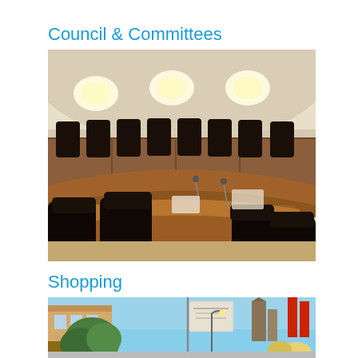Council & Committees
[Figure (photo): Interior of a council chamber showing a curved wooden desk arrangement with black leather chairs, microphones on the desk, and overhead lighting on a curved wall.]
Shopping
[Figure (photo): Street-level view of a downtown shopping area with storefronts, decorative banners on lamp posts, a streetlight, trees, and a blue sky with a church spire visible in the background.]